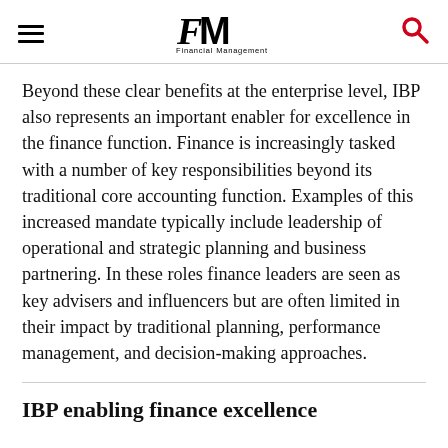FM Financial Management
Beyond these clear benefits at the enterprise level, IBP also represents an important enabler for excellence in the finance function. Finance is increasingly tasked with a number of key responsibilities beyond its traditional core accounting function. Examples of this increased mandate typically include leadership of operational and strategic planning and business partnering. In these roles finance leaders are seen as key advisers and influencers but are often limited in their impact by traditional planning, performance management, and decision-making approaches.
IBP enabling finance excellence